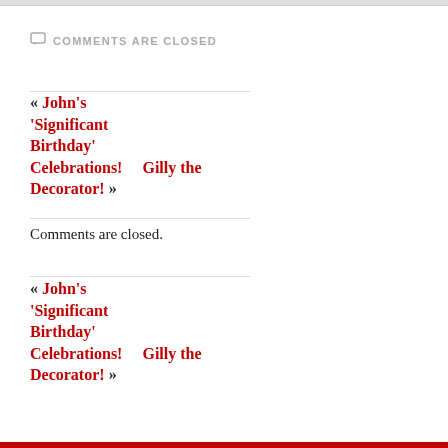COMMENTS ARE CLOSED
« John's 'Significant Birthday' Celebrations!    Gilly the Decorator! »
Comments are closed.
« John's 'Significant Birthday' Celebrations!    Gilly the Decorator! »